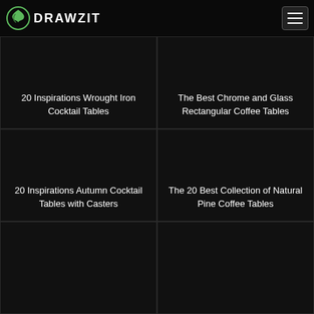DRAWZIT
[Figure (screenshot): Dark card with text: 20 Inspirations Wrought Iron Cocktail Tables]
[Figure (screenshot): Dark card with text: The Best Chrome and Glass Rectangular Coffee Tables]
[Figure (screenshot): Dark card with text: 20 Inspirations Autumn Cocktail Tables with Casters]
[Figure (screenshot): Dark card with text: The 20 Best Collection of Natural Pine Coffee Tables]
[Figure (screenshot): Dark card, partially visible at bottom left]
[Figure (screenshot): Dark card, partially visible at bottom right]